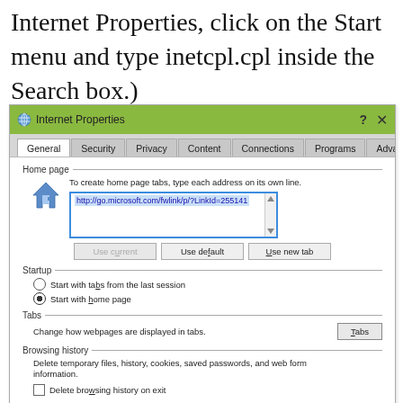Internet Properties, click on the Start menu and type inetcpl.cpl inside the Search box.)
[Figure (screenshot): Internet Properties dialog box showing the General tab with Home page, Startup, Tabs, and Browsing history sections. The home page URL field shows http://go.microsoft.com/fwlink/p/?LinkId=255141]